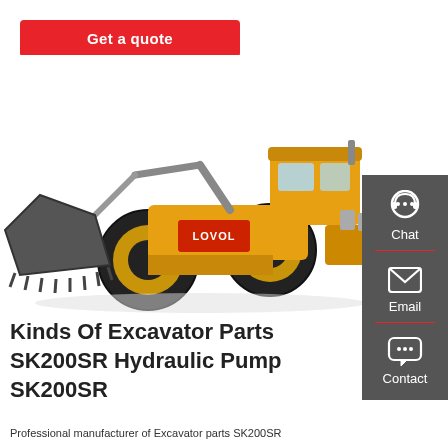Get a quote
[Figure (photo): Yellow LOVOL wheel loader / front-end loader with large bucket, photographed on white background]
[Figure (infographic): Dark grey side panel with Chat (headset icon), Email (envelope icon), and Contact (speech bubble icon) options, separated by red dividers]
Kinds Of Excavator Parts SK200SR Hydraulic Pump SK200SR
Professional manufacturer of Excavator parts SK200SR